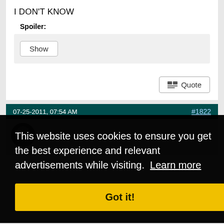I DON'T KNOW
Spoiler:
Show
Quote
07-25-2011, 07:54 AM
#1822
This website uses cookies to ensure you get the best experience and relevant advertisements while visiting. Learn more
Got it!